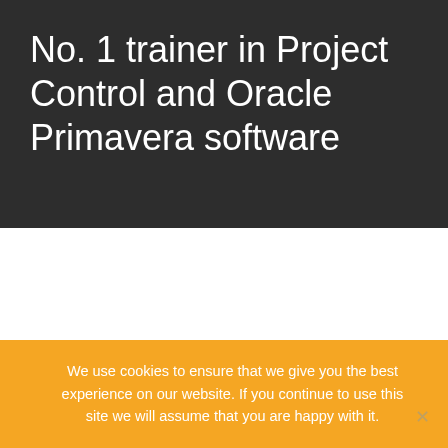No. 1 trainer in Project Control and Oracle Primavera software
We use cookies to ensure that we give you the best experience on our website. If you continue to use this site we will assume that you are happy with it.